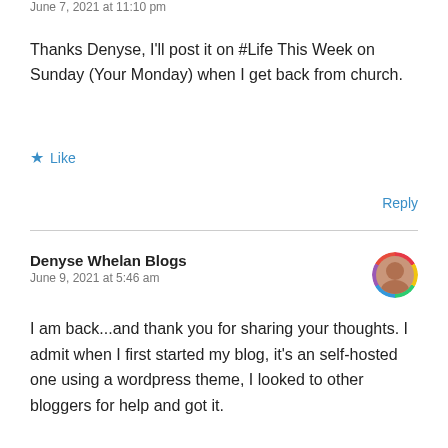June 7, 2021 at 11:10 pm
Thanks Denyse, I'll post it on #Life This Week on Sunday (Your Monday) when I get back from church.
★ Like
Reply
Denyse Whelan Blogs
June 9, 2021 at 5:46 am
I am back...and thank you for sharing your thoughts. I admit when I first started my blog, it's an self-hosted one using a wordpress theme, I looked to other bloggers for help and got it.